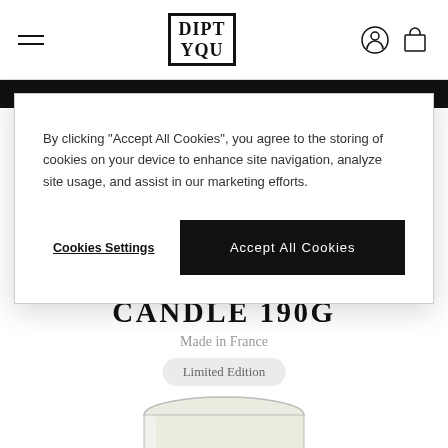Diptyque navigation bar with hamburger menu, logo, account icon, and cart icon
CANDLE 190G
Made in France
Limited Edition
[Figure (photo): Glass candle with pale yellow/green wax in a clear glass jar, partially visible at the bottom of the page]
By clicking "Accept All Cookies", you agree to the storing of cookies on your device to enhance site navigation, analyze site usage, and assist in our marketing efforts.
Cookies Settings
Accept All Cookies